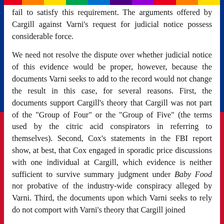fail to satisfy this requirement. The arguments offered by Cargill against Varni's request for judicial notice possess considerable force.

We need not resolve the dispute over whether judicial notice of this evidence would be proper, however, because the documents Varni seeks to add to the record would not change the result in this case, for several reasons. First, the documents support Cargill's theory that Cargill was not part of the "Group of Four" or the "Group of Five" (the terms used by the citric acid conspirators in referring to themselves). Second, Cox's statements in the FBI report show, at best, that Cox engaged in sporadic price discussions with one individual at Cargill, which evidence is neither sufficient to survive summary judgment under Baby Food nor probative of the industry-wide conspiracy alleged by Varni. Third, the documents upon which Varni seeks to rely do not comport with Varni's theory that Cargill joined